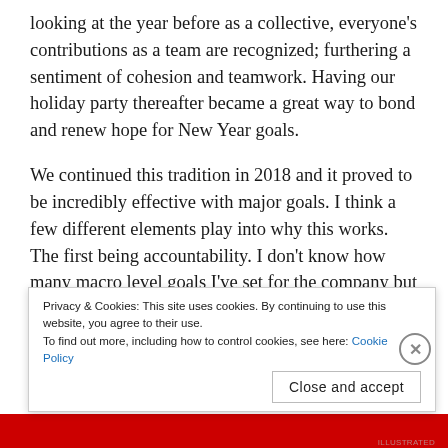looking at the year before as a collective, everyone's contributions as a team are recognized; furthering a sentiment of cohesion and teamwork. Having our holiday party thereafter became a great way to bond and renew hope for New Year goals.
We continued this tradition in 2018 and it proved to be incredibly effective with major goals. I think a few different elements play into why this works. The first being accountability. I don't know how many macro level goals I've set for the company but the…
Privacy & Cookies: This site uses cookies. By continuing to use this website, you agree to their use.
To find out more, including how to control cookies, see here: Cookie Policy
Close and accept